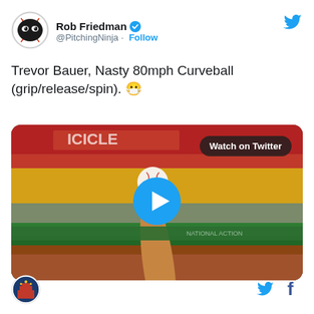[Figure (logo): PitchingNinja baseball logo - black circle with baseball stitching, dark ninja eyes]
Rob Friedman @PitchingNinja · Follow
[Figure (logo): Twitter bird icon, blue, top right]
Trevor Bauer, Nasty 80mph Curveball (grip/release/spin). 😷
[Figure (screenshot): Video thumbnail showing a hand/arm holding a baseball against a blurred stadium background with red/yellow/green colors. 'Watch on Twitter' button top right. Blue play button circle in center.]
[Figure (logo): Round logo at bottom left - blue/red circular badge]
[Figure (logo): Twitter bird icon blue, bottom right]
[Figure (logo): Facebook f icon blue, bottom right]